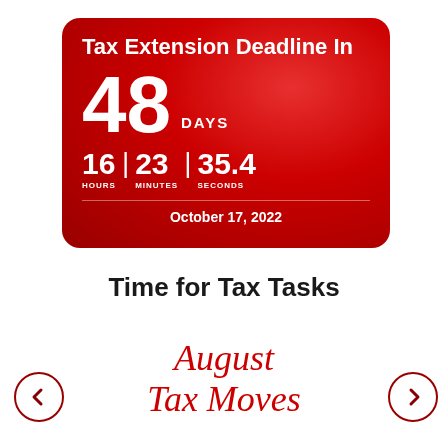[Figure (infographic): Red countdown timer card showing Tax Extension Deadline In: 48 DAYS, 16 HOURS | 23 MINUTES | 35.4 SECONDS, October 17, 2022]
Time for Tax Tasks
August
Tax Moves